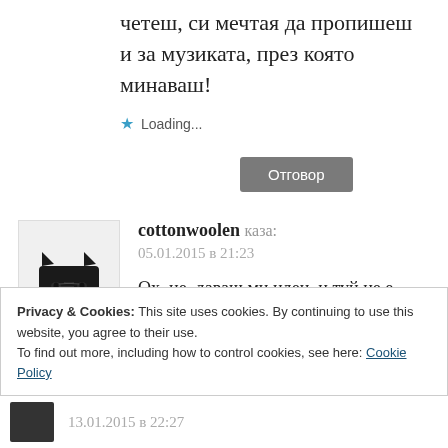четеш, си мечтая да пропишеш и за музиката, през която минаваш!
Loading...
Отговор
cottonwoolen каза: 05.01.2015 в 21:23
Ох, не, даваш ми идеи, и туй не е добре!
Loading...
Privacy & Cookies: This site uses cookies. By continuing to use this website, you agree to their use.
To find out more, including how to control cookies, see here: Cookie Policy
Close and accept
13.01.2015 в 22:27